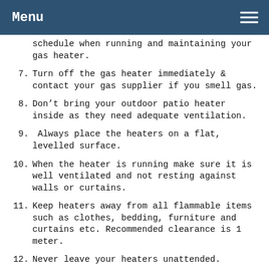Menu
schedule when running and maintaining your gas heater.
7. Turn off the gas heater immediately & contact your gas supplier if you smell gas.
8. Don’t bring your outdoor patio heater inside as they need adequate ventilation.
9. Always place the heaters on a flat, levelled surface.
10. When the heater is running make sure it is well ventilated and not resting against walls or curtains.
11. Keep heaters away from all flammable items such as clothes, bedding, furniture and curtains etc. Recommended clearance is 1 meter.
12. Never leave your heaters unattended.
13. If you are leaving the house or going to sleep, always remember to switch the heater off.